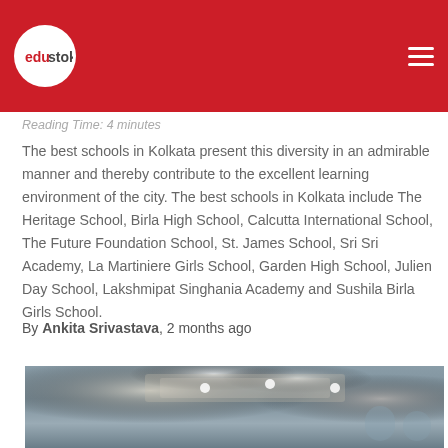edustoke
Reading Time: 4 minutes
The best schools in Kolkata present this diversity in an admirable manner and thereby contribute to the excellent learning environment of the city. The best schools in Kolkata include The Heritage School, Birla High School, Calcutta International School, The Future Foundation School, St. James School, Sri Sri Academy, La Martiniere Girls School, Garden High School, Julien Day School, Lakshmipat Singhania Academy and Sushila Birla Girls School.
By Ankita Srivastava, 2 months ago
[Figure (photo): Interior photo of a school building showing decorative ceiling with recessed lighting, ornamental ceiling details, and arched windows in the background]